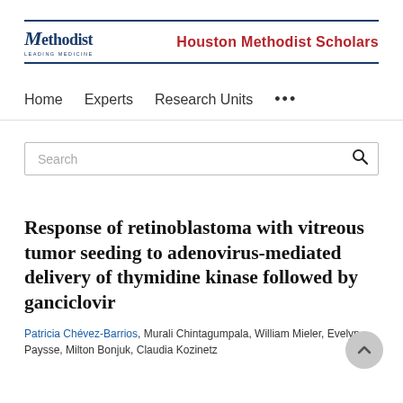Houston Methodist | Houston Methodist Scholars
Home   Experts   Research Units   ...
Search
Response of retinoblastoma with vitreous tumor seeding to adenovirus-mediated delivery of thymidine kinase followed by ganciclovir
Patricia Chévez-Barrios, Murali Chintagumpala, William Mieler, Evelyn Paysse, Milton Bonjuk, Claudia Kozinetz